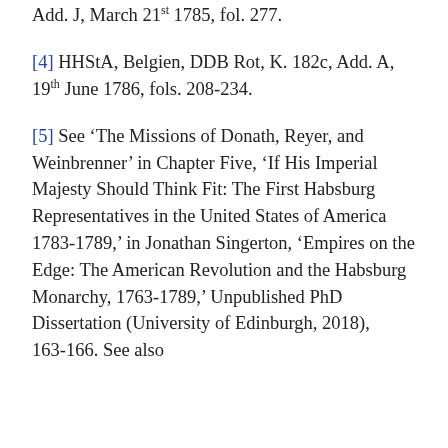Add. J, March 21st 1785, fol. 277.
[4] HHStA, Belgien, DDB Rot, K. 182c, Add. A, 19th June 1786, fols. 208-234.
[5] See ‘The Missions of Donath, Reyer, and Weinbrenner’ in Chapter Five, ‘If His Imperial Majesty Should Think Fit: The First Habsburg Representatives in the United States of America 1783-1789,’ in Jonathan Singerton, ‘Empires on the Edge: The American Revolution and the Habsburg Monarchy, 1763-1789,’ Unpublished PhD Dissertation (University of Edinburgh, 2018), 163-166. See also